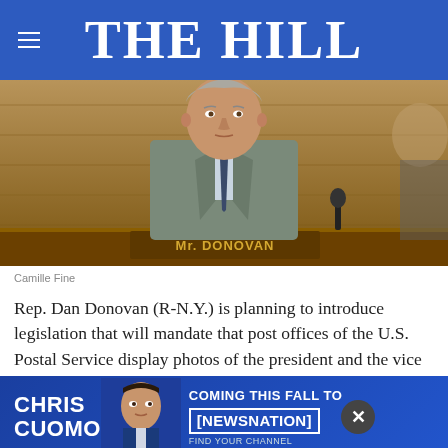THE HILL
[Figure (photo): Rep. Dan Donovan seated at congressional hearing desk with nameplate reading 'Mr. DONOVAN', wearing gray suit and blue tie, microphone visible, wood-paneled background]
Camille Fine
Rep. Dan Donovan (R-N.Y.) is planning to introduce legislation that will mandate that post offices of the U.S. Postal Service display photos of the president and the vice president.
[Figure (photo): Advertisement banner for Chris Cuomo Coming This Fall to NewsNation - Find Your Channel]
A draft of the bill Donovan intends to introduce says it would require that official portraits of the